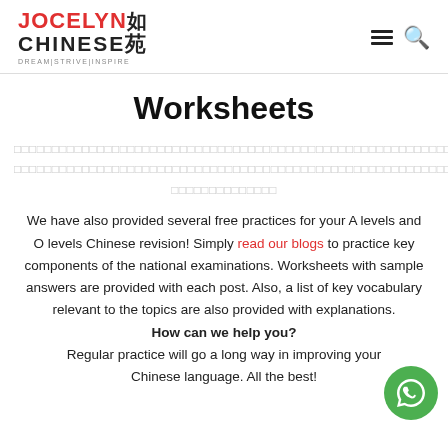Jocelyn Chinese 苑 — DREAM|STRIVE|INSPIRE
Worksheets
□□□□□□□□□□□□□□□□□□□□□□□□□□□□□□□□□□□□□□□□□□□□□□□□□□□□□□□□□□□□□□□□□□□□□□□□□□□□□□□□□□□□□□□□□□□□□□□□□□□□□□□□□□□□□□□□□□□□□□□□□□□□□□□□□□□□□□□□□□□□□□□□□□□□□□□□□□□□□□□□□□
We have also provided several free practices for your A levels and O levels Chinese revision! Simply read our blogs to practice key components of the national examinations. Worksheets with sample answers are provided with each post. Also, a list of key vocabulary relevant to the topics are also provided with explanations. Regular practice will go a long way in improving your Chinese language. All the best!
How can we help you?